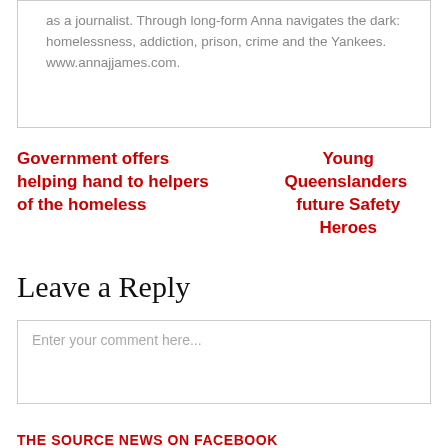as a journalist. Through long-form Anna navigates the dark: homelessness, addiction, prison, crime and the Yankees. www.annajjames.com.
Government offers helping hand to helpers of the homeless
Young Queenslanders future Safety Heroes
Leave a Reply
Enter your comment here...
THE SOURCE NEWS ON FACEBOOK